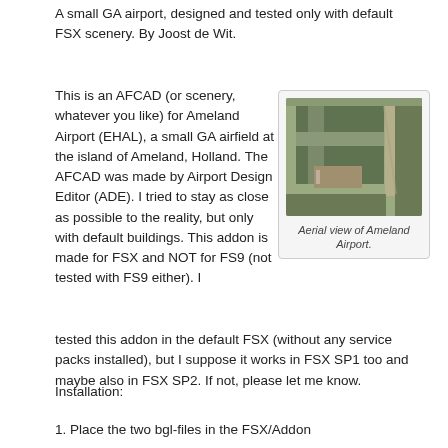A small GA airport, designed and tested only with default FSX scenery. By Joost de Wit.
This is an AFCAD (or scenery, whatever you like) for Ameland Airport (EHAL), a small GA airfield at the island of Ameland, Holland. The AFCAD was made by Airport Design Editor (ADE). I tried to stay as close as possible to the reality, but only with default buildings. This addon is made for FSX and NOT for FS9 (not tested with FS9 either). I tested this addon in the default FSX (without any service packs installed), but I suppose it works in FSX SP1 too and maybe also in FSX SP2. If not, please let me know.
[Figure (photo): Aerial view of Ameland Airport showing runways and surrounding landscape from above.]
Aerial view of Ameland Airport.
Installation:
1. Place the two bgl-files in the FSX/Addon